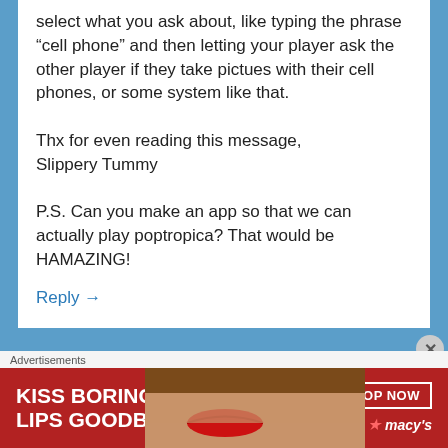select what you ask about, like typing the phrase “cell phone” and then letting your player ask the other player if they take pictues with their cell phones, or some system like that.
Thx for even reading this message,
Slippery Tummy
P.S. Can you make an app so that we can actually play poptropica? That would be HAMAZING!
Reply →
SLANTED FISH
[Figure (screenshot): Advertisement banner: Macy's lip product ad with text 'KISS BORING LIPS GOODBYE', 'SHOP NOW' button, Macy's star logo, and a woman's face showing red lips]
Advertisements